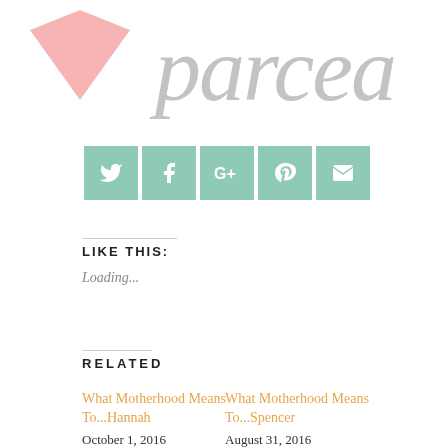[Figure (logo): Partial view of a cursive/script logo in gray with a pink heart shape on the left — top portion of a blog or brand logo]
[Figure (infographic): Row of 5 mint/teal green social media icon buttons: Twitter, Facebook, Google+, Pinterest, Email/envelope]
LIKE THIS:
Loading...
RELATED
What Motherhood Means To...Hannah
October 1, 2016
What Motherhood Means To...Spencer
August 31, 2016